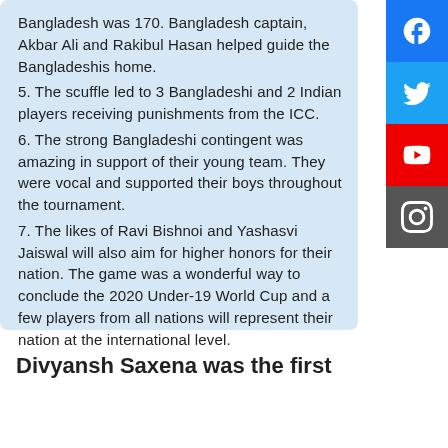Bangladesh was 170. Bangladesh captain, Akbar Ali and Rakibul Hasan helped guide the Bangladeshis home. 5. The scuffle led to 3 Bangladeshi and 2 Indian players receiving punishments from the ICC. 6. The strong Bangladeshi contingent was amazing in support of their young team. They were vocal and supported their boys throughout the tournament. 7. The likes of Ravi Bishnoi and Yashasvi Jaiswal will also aim for higher honors for their nation. The game was a wonderful way to conclude the 2020 Under-19 World Cup and a few players from all nations will represent their nation at the international level.
Divyansh Saxena was the first